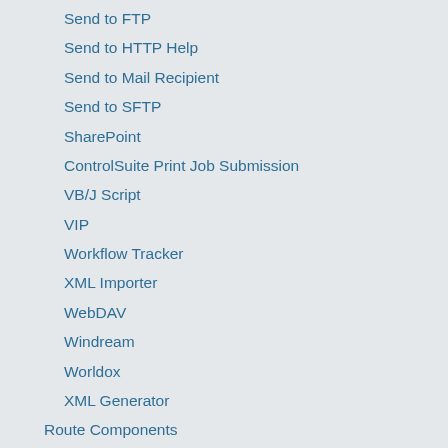Send to FTP
Send to HTTP Help
Send to Mail Recipient
Send to SFTP
SharePoint
ControlSuite Print Job Submission
VB/J Script
VIP
Workflow Tracker
XML Importer
WebDAV
Windream
Worldox
XML Generator
Route Components